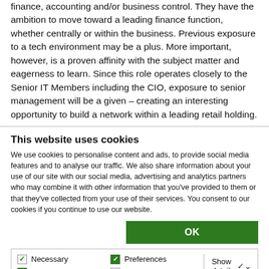finance, accounting and/or business control. They have the ambition to move toward a leading finance function, whether centrally or within the business. Previous exposure to a tech environment may be a plus. More important, however, is a proven affinity with the subject matter and eagerness to learn. Since this role operates closely to the Senior IT Members including the CIO, exposure to senior management will be a given – creating an interesting opportunity to build a network within a leading retail holding.
This website uses cookies
We use cookies to personalise content and ads, to provide social media features and to analyse our traffic. We also share information about your use of our site with our social media, advertising and analytics partners who may combine it with other information that you've provided to them or that they've collected from your use of their services. You consent to our cookies if you continue to use our website.
OK
Necessary | Statistics | Preferences | Marketing | Show details